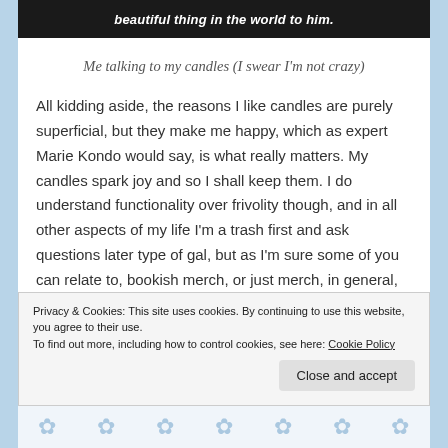[Figure (photo): Dark background image with white italic bold text reading 'beautiful thing in the world to him.']
Me talking to my candles (I swear I'm not crazy)
All kidding aside, the reasons I like candles are purely superficial, but they make me happy, which as expert Marie Kondo would say, is what really matters. My candles spark joy and so I shall keep them. I do understand functionality over frivolity though, and in all other aspects of my life I'm a trash first and ask questions later type of gal, but as I'm sure some of you can relate to, bookish merch, or just merch, in general,
Privacy & Cookies: This site uses cookies. By continuing to use this website, you agree to their use.
To find out more, including how to control cookies, see here: Cookie Policy
Close and accept